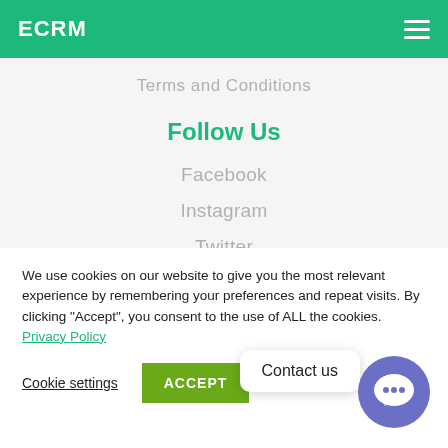ECRM
Terms and Conditions
Follow Us
Facebook
Instagram
Twitter
We use cookies on our website to give you the most relevant experience by remembering your preferences and repeat visits. By clicking “Accept”, you consent to the use of ALL the cookies. Privacy Policy
Cookie settings
ACCEPT
Contact us